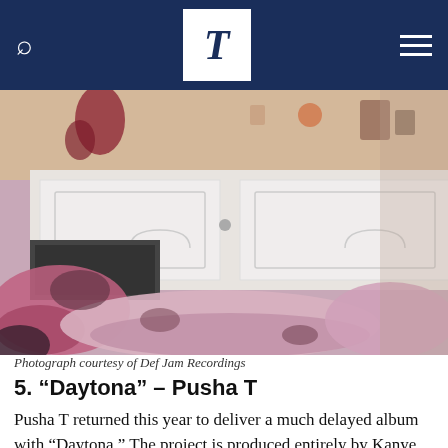T (The New Yorker / Times logo navigation bar)
[Figure (photo): Photograph of a messy kitchen counter with pink/purple stained surfaces, white cabinet doors visible, scattered items on counter — album artwork for Pusha T's Daytona]
Photograph courtesy of Def Jam Recordings
5. “Daytona” – Pusha T
Pusha T returned this year to deliver a much delayed album with “Daytona.” The project is produced entirely by Kanye West who boasts minimalistic, but intricate production. Pusha T’s lyrical performance is at its peak